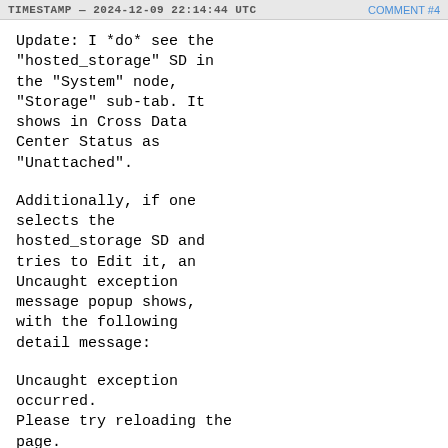TIMESTAMP — 2024-12-09 22:14:44 UTC    COMMENT #4
Update: I *do* see the
"hosted_storage" SD in
the "System" node,
"Storage" sub-tab. It
shows in Cross Data
Center Status as
"Unattached".
Additionally, if one
selects the
hosted_storage SD and
tries to Edit it, an
Uncaught exception
message popup shows,
with the following
detail message:
Uncaught exception
occurred.
Please try reloading the
page.
Details: (TypeError)
__gwt$exception:
<skipped>:
Cannot read property 'b'
of null
Will attach relevant